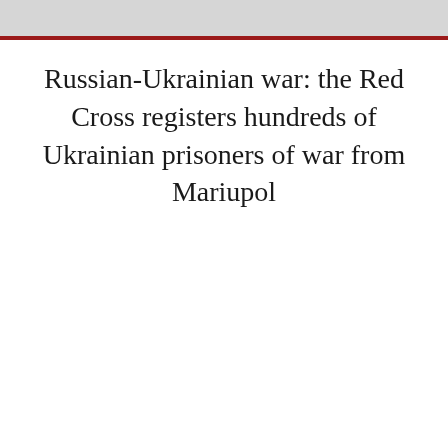Russian-Ukrainian war: the Red Cross registers hundreds of Ukrainian prisoners of war from Mariupol